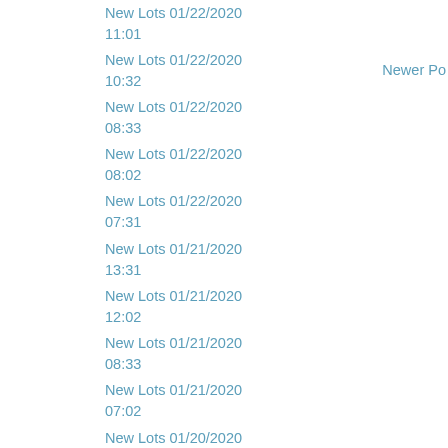New Lots 01/22/2020 11:01
New Lots 01/22/2020 10:32
New Lots 01/22/2020 08:33
New Lots 01/22/2020 08:02
New Lots 01/22/2020 07:31
New Lots 01/21/2020 13:31
New Lots 01/21/2020 12:02
New Lots 01/21/2020 08:33
New Lots 01/21/2020 07:02
New Lots 01/20/2020 19:01
New Lots 01/20/2020 17:32
New Lots 01/20/2020 17:02
New Lots 01/20/2020 16:32
New Lots 01/20/2020 12:31
New Lots 01/20/2020 12:01
New Lots 01/20/2020 11:31
New Lots 01/20/2020 10:04
New Lots 01/17/2020 18:03
New Lots 01/17/2020 15:32
New Lots 01/17/2020 15:31
Newer Po